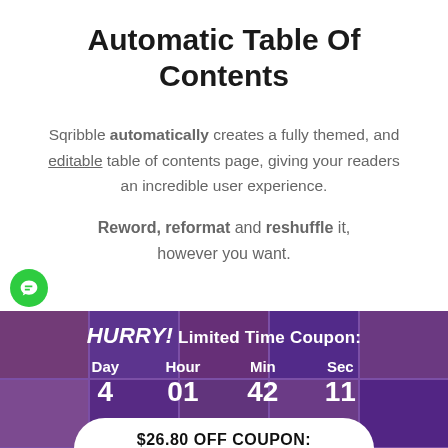Automatic Table Of Contents
Sqribble automatically creates a fully themed, and editable table of contents page, giving your readers an incredible user experience.
Reword, reformat and reshuffle it, however you want.
[Figure (infographic): Countdown timer banner with purple background and faces: HURRY! Limited Time Coupon: Day 4 / Hour 01 / Min 42 / Sec 11]
$26.80 OFF COUPON: AUG2022